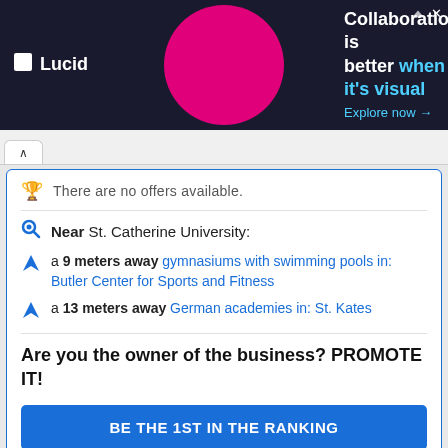[Figure (screenshot): Lucid advertisement banner with dark background showing 'Collaboration is better when it's visual. Explore now →']
There are no offers available.
Near St. Catherine University:
a 9 meters away gymnasiums with swimming pools in: Butler Center for Sports and Fitness
a 13 meters away German academies in: St. Kates
Are you the owner of the business? PROMOTE IT!
BE THE 1ST IN THE RANKING
EXCLUSIVE PAGE